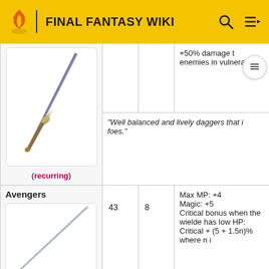FINAL FANTASY WIKI
| Name | ATK | MAG | Properties |
| --- | --- | --- | --- |
| (recurring) |  |  | +50% damage t enemies in vulnerable s |
|  |  |  | "Well balanced and lively daggers that i foes." |
| Avengers | 43 | 8 | Max MP: +4 Magic: +5 Critical bonus when the wielde has low HP: Critical + (5 + 1.5n)% where n i |